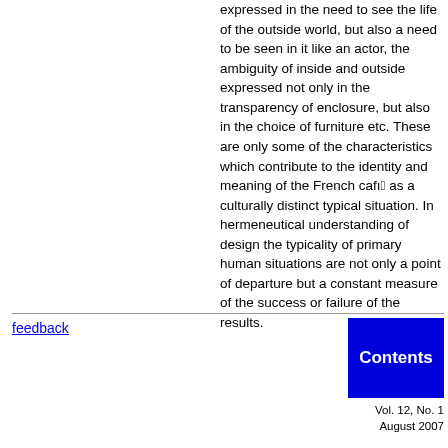expressed in the need to see the life of the outside world, but also a need to be seen in it like an actor, the ambiguity of inside and outside expressed not only in the transparency of enclosure, but also in the choice of furniture etc. These are only some of the characteristics which contribute to the identity and meaning of the French café as a culturally distinct typical situation. In hermeneutical understanding of design the typicality of primary human situations are not only a point of departure but a constant measure of the success or failure of the results.
feedback
[Figure (other): Blue 'Contents' button/box]
Vol. 12, No. 1
August 2007